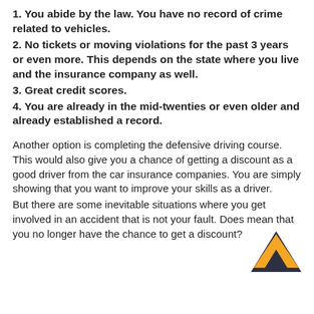1. You abide by the law. You have no record of crime related to vehicles.
2. No tickets or moving violations for the past 3 years or even more. This depends on the state where you live and the insurance company as well.
3. Great credit scores.
4. You are already in the mid-twenties or even older and already established a record.
Another option is completing the defensive driving course. This would also give you a chance of getting a discount as a good driver from the car insurance companies. You are simply showing that you want to improve your skills as a driver.
But there are some inevitable situations where you get involved in an accident that is not your fault. Does mean that you no longer have the chance to get a discount?
[Figure (illustration): Orange and dark navy house/chevron arrow icon pointing upward, positioned at bottom right of page]